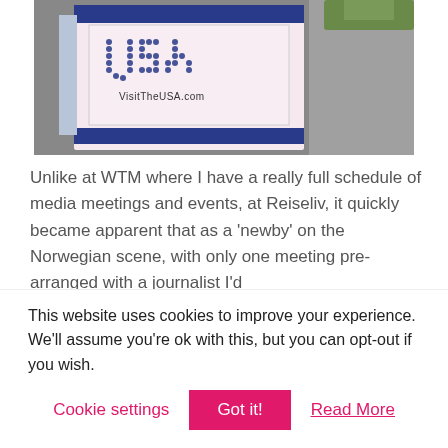[Figure (photo): A VisitTheUSA.com promotional booth display with a blue and pink banner showing 'USA' made of dots and 'VisitTheUSA.com' text below.]
Unlike at WTM where I have a really full schedule of media meetings and events, at Reiseliv, it quickly became apparent that as a 'newby' on the Norwegian scene, with only one meeting pre-arranged with a journalist I'd
This website uses cookies to improve your experience. We'll assume you're ok with this, but you can opt-out if you wish.
Cookie settings | Got it! | Read More